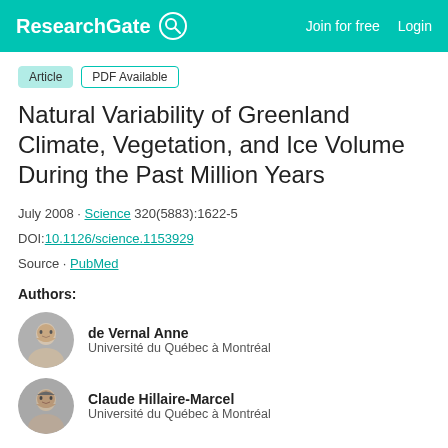ResearchGate   Join for free   Login
Article   PDF Available
Natural Variability of Greenland Climate, Vegetation, and Ice Volume During the Past Million Years
July 2008 · Science 320(5883):1622-5
DOI:10.1126/science.1153929
Source · PubMed
Authors:
de Vernal Anne
Université du Québec à Montréal
Claude Hillaire-Marcel
Université du Québec à Montréal